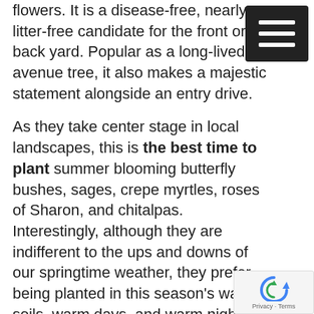flowers. It is a disease-free, nearly litter-free candidate for the front or back yard. Popular as a long-lived avenue tree, it also makes a majestic statement alongside an entry drive.
As they take center stage in local landscapes, this is the best time to plant summer blooming butterfly bushes, sages, crepe myrtles, roses of Sharon, and chitalpas. Interestingly, although they are indifferent to the ups and downs of our springtime weather, they prefer being planted in this season's warm soils, warm days, and warm nights.
One of the truly unusual specimens this season is the Blue Bird Hibiscus.
[Figure (other): Hamburger menu button icon — dark square with three white horizontal bars]
[Figure (other): reCAPTCHA badge with spinning arrow icon and 'Privacy - Terms' text]